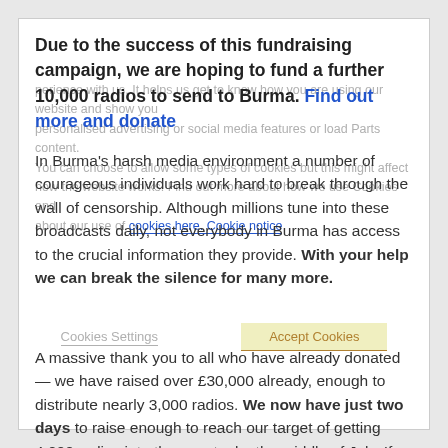Due to the success of this fundraising campaign, we are hoping to fund a further 10,000 radios to send to Burma. Find out more and donate
In Burma's harsh media environment a number of courageous individuals work hard to break through the wall of censorship. Although millions tune into these broadcasts daily, not everybody in Burma has access to the crucial information they provide. With your help we can break the silence for many more.
A massive thank you to all who have already donated — we have raised over £30,000 already, enough to distribute nearly 3,000 radios. We now have just two days to raise enough to reach our target of getting 4,000 radios into the country by the middle of July. If you have any time at all, please help us spread the word by telling your friends and family.